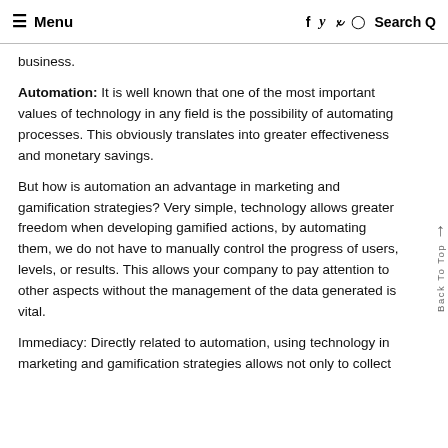≡ Menu   f  y  p  ©  Search Q
business.
Automation: It is well known that one of the most important values of technology in any field is the possibility of automating processes. This obviously translates into greater effectiveness and monetary savings.
But how is automation an advantage in marketing and gamification strategies? Very simple, technology allows greater freedom when developing gamified actions, by automating them, we do not have to manually control the progress of users, levels, or results. This allows your company to pay attention to other aspects without the management of the data generated is vital.
Immediacy: Directly related to automation, using technology in marketing and gamification strategies allows not only to collect